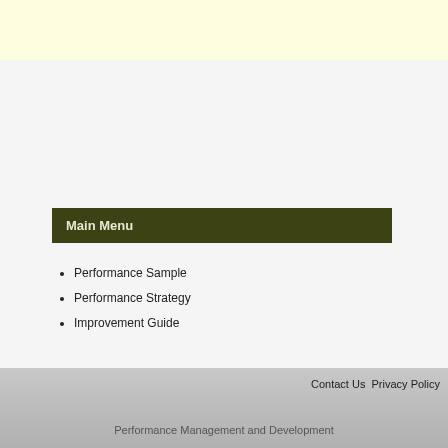[Figure (other): Light yellow banner at the top of the page]
Main Menu
Performance Sample
Performance Strategy
Improvement Guide
Contact Us  Privacy Policy
Performance Management and Development